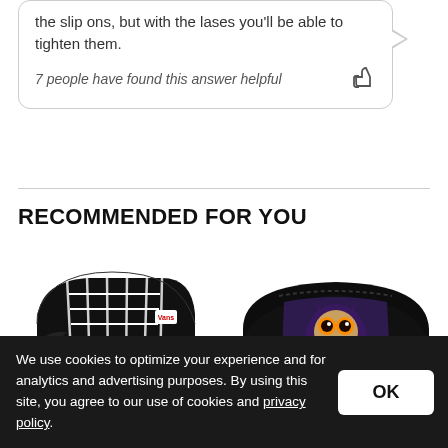the slip ons, but with the lases you'll be able to tighten them.
7 people have found this answer helpful
RECOMMENDED FOR YOU
[Figure (photo): Black and white Vans high-top sneaker (Sk8-Hi style) with white laces and white stripe on sole]
[Figure (photo): Black slip-on moccasin shoe with colorful owl graphic print on the side panel]
We use cookies to optimize your experience and for analytics and advertising purposes. By using this site, you agree to our use of cookies and privacy policy.